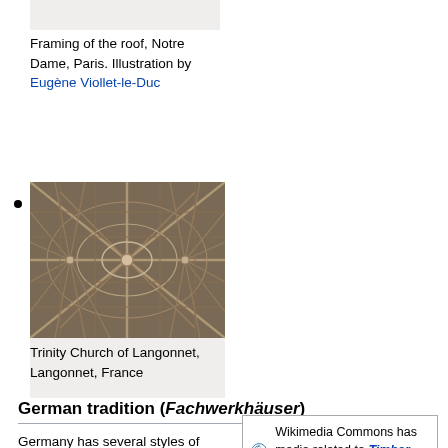[Figure (photo): Top thumbnail placeholder — partial image of roof framing]
Framing of the roof, Notre Dame, Paris. Illustration by Eugène Viollet-le-Duc
[Figure (photo): Photograph of roof framing interior — Trinity Church of Langonnet, Langonnet, France, showing radiating wooden timber structure viewed from below]
Trinity Church of Langonnet, Langonnet, France
German tradition (Fachwerkhäuser)
Germany has several styles of timber framing, but probably the greatest
[Figure (logo): Wikimedia Commons logo — blue circular icon with red dot]
Wikimedia Commons has media related to Timber framing in Germany.